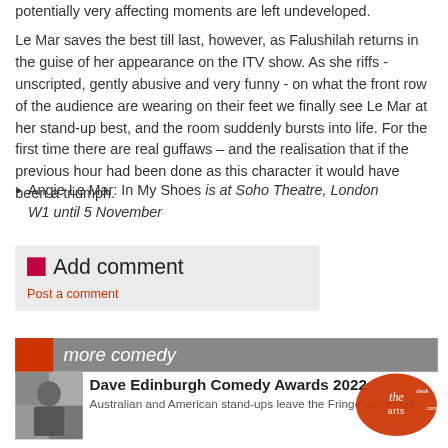potentially very affecting moments are left undeveloped.
Le Mar saves the best till last, however, as Falushilah returns in the guise of her appearance on the ITV show. As she riffs - unscripted, gently abusive and very funny - on what the front row of the audience are wearing on their feet we finally see Le Mar at her stand-up best, and the room suddenly bursts into life. For the first time there are real guffaws – and the realisation that if the previous hour had been done as this character it would have been a triumph.
Angie Le Mar: In My Shoes is at Soho Theatre, London W1 until 5 November
Add comment
Post a comment
more comedy
Dave Edinburgh Comedy Awards 2022
Australian and American stand-ups leave the Fringe victorious